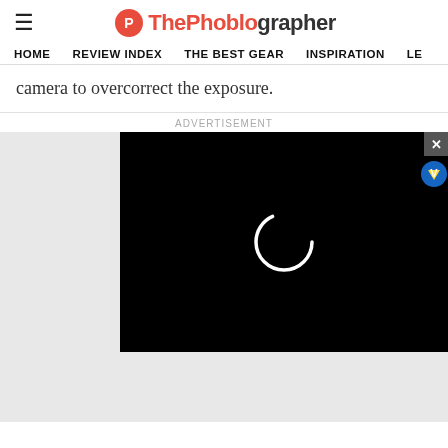ThePhoblographer
HOME   REVIEW INDEX   THE BEST GEAR   INSPIRATION   LE...
camera to overcorrect the exposure.
[Figure (screenshot): Advertisement overlay with a black video player showing a loading spinner ring, a close X button, and a V badge icon. Gray placeholder blocks visible on the left and bottom.]